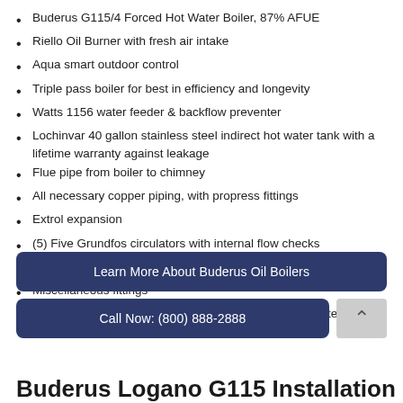Buderus G115/4 Forced Hot Water Boiler, 87% AFUE
Riello Oil Burner with fresh air intake
Aqua smart outdoor control
Triple pass boiler for best in efficiency and longevity
Watts 1156 water feeder & backflow preventer
Lochinvar 40 gallon stainless steel indirect hot water tank with a lifetime warranty against leakage
Flue pipe from boiler to chimney
All necessary copper piping, with propress fittings
Extrol expansion
(5) Five Grundfos circulators with internal flow checks
New supply and return headers, piped in black iron
Miscellaneous fittings
Removal and disposal of existing boiler and related materials
Learn More About Buderus Oil Boilers
Call Now: (800) 888-2888
Buderus Logano G115 Installation